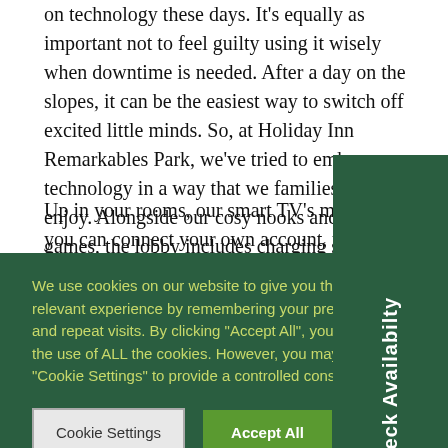on technology these days. It's equally as important not to feel guilty using it wisely when downtime is needed. After a day on the slopes, it can be the easiest way to switch off excited little minds. So, at Holiday Inn Remarkables Park, we've tried to embrace technology in a way that we families will enjoy. Alongside our cosy nooks and bo games, the lobby includes charging stations.
Up in your rooms, our smart TV's mean that you can connect your own account, when only Netflix will do can keep up with your favourite shows, enjoy a fami movie or keep the little ones entertained. Unlimited means it's also easier than ever to kick back, pick yo favourite shots of the day and share your family ho
Check Availabilty
We use cookies on our website to give you the most relevant experience by remembering your preferences and repeat visits. By clicking "Accept All", you consent to the use of ALL the cookies. However, you may visit "Cookie Settings" to provide a controlled consent.
Cookie Settings
Accept All